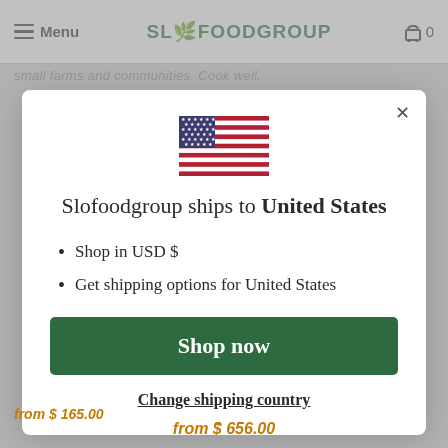Menu  SLOFOODGROUP  0
small farms and communities. Cook well.
[Figure (screenshot): Modal dialog popup on Slofoodgroup website showing shipping country selection. Contains US flag, title 'Slofoodgroup ships to United States', bullet points 'Shop in USD $' and 'Get shipping options for United States', a green 'Shop now' button, and a 'Change shipping country' link.]
from $ 165.00
from $ 656.00